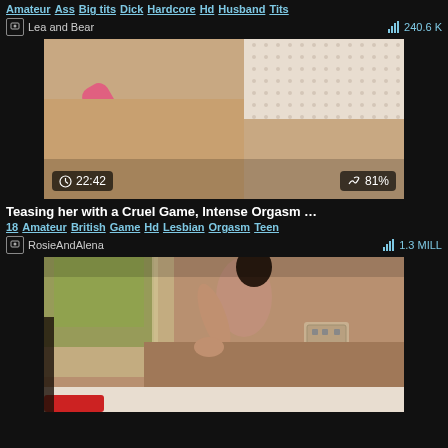Amateur Ass Big tits Dick Hardcore Hd Husband Tits
Lea and Bear   240.6 K
[Figure (photo): Video thumbnail showing a pink wand massager held over a person's body with a patterned fabric, duration 22:42, rating 81%]
Teasing her with a Cruel Game, Intense Orgasm …
18 Amateur British Game Hd Lesbian Orgasm Teen
RosieAndAlena   1.3 MILL
[Figure (photo): Video thumbnail showing two people in an intimate scene near a window with natural light]